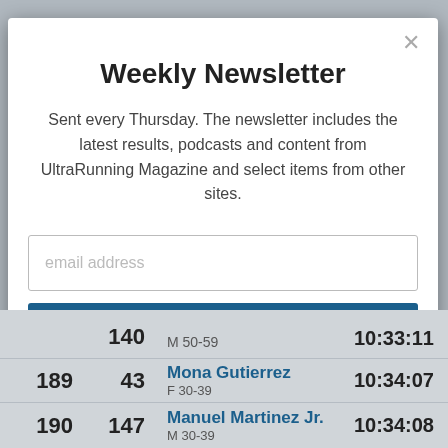Weekly Newsletter
Sent every Thursday. The newsletter includes the latest results, podcasts and content from UltraRunning Magazine and select items from other sites.
| Place | Bib | Name / Category | Time |
| --- | --- | --- | --- |
|  | 140 | M 50-59 | 10:33:11 |
| 189 | 43 | Mona Gutierrez
F 30-39 | 10:34:07 |
| 190 | 147 | Manuel Martinez Jr.
M 30-39 | 10:34:08 |